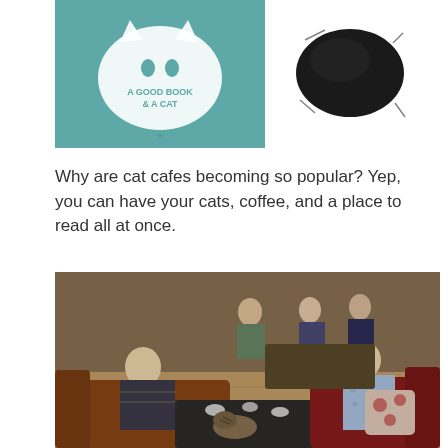[Figure (photo): Teal/mint colored print or poster with white cat-themed text reading 'A Good Book & A Cat']
[Figure (photo): Black throw pillow or cushion product photo on white background]
Why are cat cafes becoming so popular? Yep, you can have your cats, coffee, and a place to read all at once.
[Figure (photo): Interior photo of a cat cafe showing people sitting on leather sofas, a cat on the coffee table, drinks on the table, wooden floors and walls.]